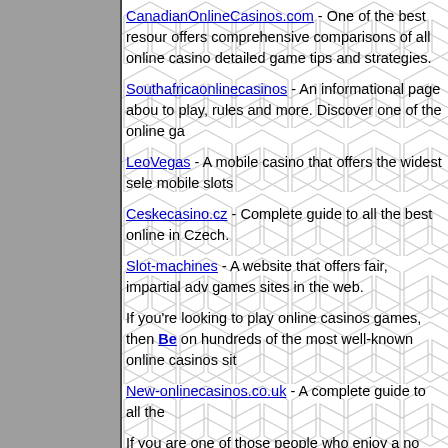CanadianOnlineCasinos.com - One of the best resources, offers comprehensive comparisons of all online casinos, detailed game tips and strategies.
Southafricaonlinecasinos - An informational page about how to play, rules and more. Discover one of the online games.
LeoVegas - A mobile casino that offers the widest selection of mobile slots
Ceskecasino.cz - Complete guide to all the best online casinos in Czech.
Slot-machines - A website that offers fair, impartial advice on games sites in the web.
If you're looking to play online casinos games, then BetXXX on hundreds of the most well-known online casinos sites.
New-onlinecasinos.co.uk - A complete guide to all the...
If you are one of those people who enjoy a no deposit..., to check out www.new-nodepositcasino.co.uk
Players from the United Kingdom can find some of the... casinosites.co.uk and collect great casino bonuses at...
Music and Slots - A match made in heaven